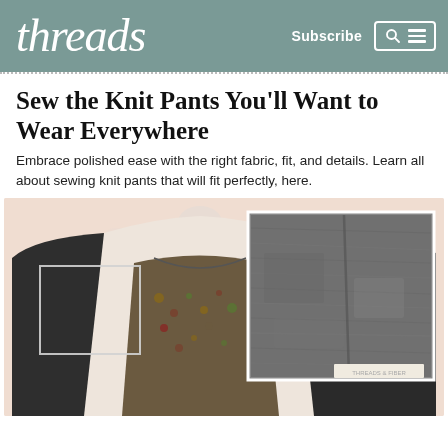threads | Subscribe
Sew the Knit Pants You'll Want to Wear Everywhere
Embrace polished ease with the right fabric, fit, and details. Learn all about sewing knit pants that will fit perfectly, here.
[Figure (photo): A mannequin wearing a dark cardigan over a floral top, with a close-up inset image of grey knit fabric texture, on a pale pink background.]